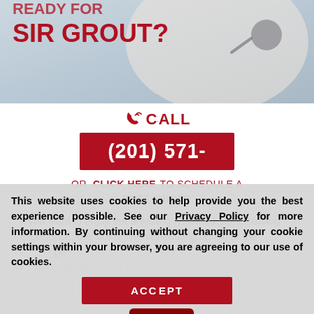[Figure (photo): Woman with headset smiling, customer service photo. Text overlay reads 'SIR GROUT?' in bold red letters.]
CALL
(201) 571-
OR  CLICK HERE TO SCHEDULE A FREE QUOTE
If you want to enjoy the amazing Norwood stone sealing experience, use our online scheduling option at the top of the page for a free quote or call Sir...
This website uses cookies to help provide you the best experience possible. See our Privacy Policy for more information. By continuing without changing your cookie settings within your browser, you are agreeing to our use of cookies.
ACCEPT